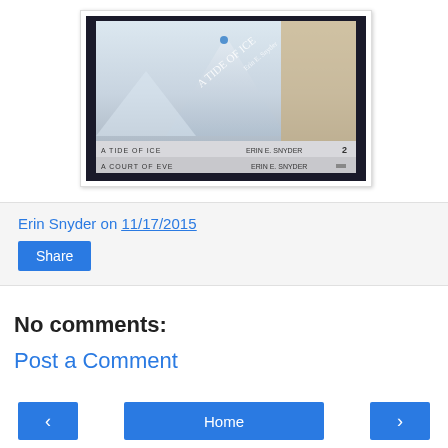[Figure (photo): Photo of two stacked books lying flat. The top book cover shows a snowy mountain scene titled 'A Tide of Ice' by Erin Snyder. The spines of both books are visible: 'A TIDE OF ICE - ERIN E. SNYDER' and 'A COURT OF EVE - ERIN E. SNYDER'.]
Erin Snyder on 11/17/2015
Share
No comments:
Post a Comment
< Home >